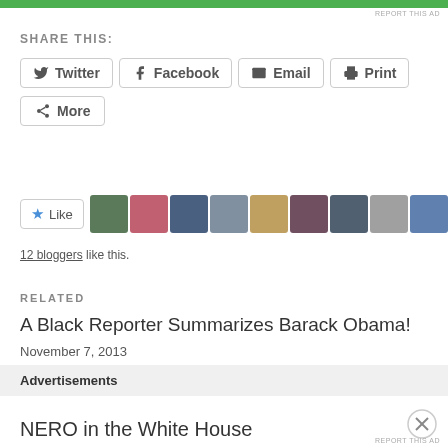[Figure (other): Green advertisement bar at top of page]
REPORT THIS AD
SHARE THIS:
Twitter
Facebook
Email
Print
More
[Figure (other): Like button with star icon and 9 blogger avatar thumbnails]
12 bloggers like this.
RELATED
A Black Reporter Summarizes Barack Obama!
November 7, 2013
In "Facts"
NERO in the White House
Advertisements
REPORT THIS AD